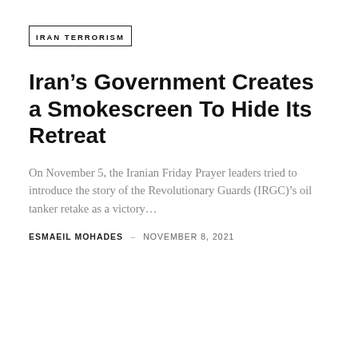IRAN TERRORISM
Iran’s Government Creates a Smokescreen To Hide Its Retreat
On November 5, the Iranian Friday Prayer leaders tried to introduce the story of the Revolutionary Guards (IRGC)’s oil tanker retake as a victory…
ESMAEIL MOHADES – NOVEMBER 8, 2021